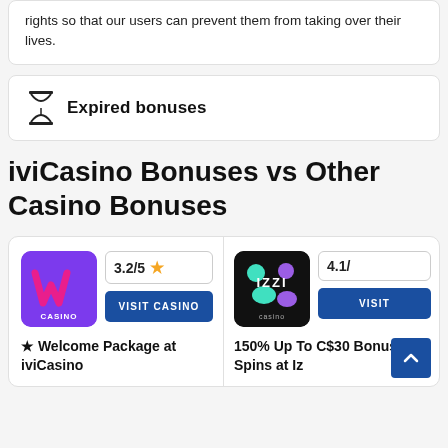their lives.
Expired bonuses
iviCasino Bonuses vs Other Casino Bonuses
[Figure (screenshot): Two casino comparison cards side by side. Left card: iviCasino logo (purple background with white V and CASINO text), rating 3.2/5 with star, VISIT CASINO button, and text '★ Welcome Package at iviCasino'. Right card: IZZI casino logo (dark background with teal/purple shapes), rating 4.1/5 (partially visible), VISIT button (partially visible), and text '150% Up To C$30 Bonus Spins at Iz...' (partially visible).]